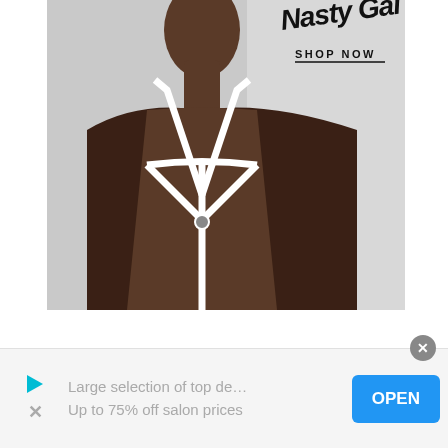[Figure (photo): Black and white fashion advertisement photo showing a model wearing a white halter/strappy top with a geometric body harness design. Top right has a brand name in script font and 'SHOP NOW' text with underline.]
[Figure (infographic): Bottom advertisement banner with a cyan play button triangle icon and an X close icon on the left, ad text reading 'Large selection of top de... Up to 75% off salon prices' in gray, and a blue OPEN button on the right. A gray close circle button appears at the top right of the banner.]